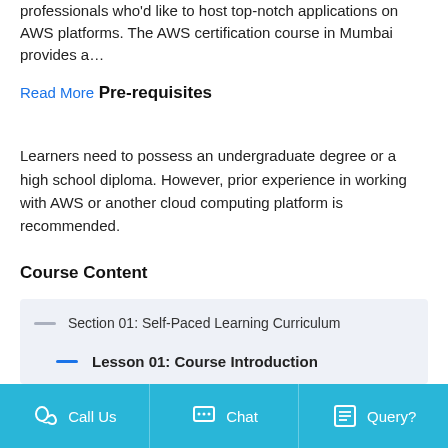professionals who'd like to host top-notch applications on AWS platforms. The AWS certification course in Mumbai provides a…
Read More
Pre-requisites
Learners need to possess an undergraduate degree or a high school diploma. However, prior experience in working with AWS or another cloud computing platform is recommended.
Course Content
Section 01: Self-Paced Learning Curriculum
Lesson 01: Course Introduction
Call Us   Chat   Query?